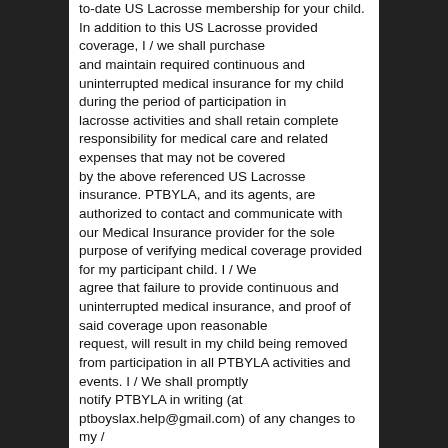to-date US Lacrosse membership for your child. In addition to this US Lacrosse provided coverage, I / we shall purchase and maintain required continuous and uninterrupted medical insurance for my child during the period of participation in lacrosse activities and shall retain complete responsibility for medical care and related expenses that may not be covered by the above referenced US Lacrosse insurance. PTBYLA, and its agents, are authorized to contact and communicate with our Medical Insurance provider for the sole purpose of verifying medical coverage provided for my participant child. I / We agree that failure to provide continuous and uninterrupted medical insurance, and proof of said coverage upon reasonable request, will result in my child being removed from participation in all PTBYLA activities and events. I / We shall promptly notify PTBYLA in writing (at ptboyslax.help@gmail.com) of any changes to my /